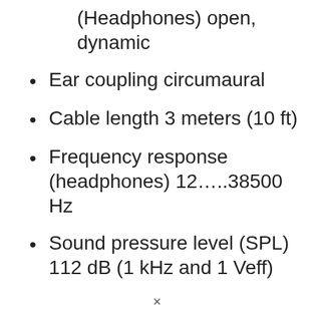(Headphones) open, dynamic
Ear coupling circumaural
Cable length 3 meters (10 ft)
Frequency response (headphones) 12…..38500 Hz
Sound pressure level (SPL) 112 dB (1 kHz and 1 Veff)